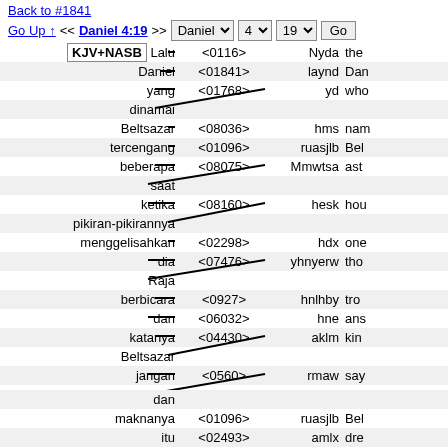Back to #1841
Go Up ↑ << Daniel 4:19 >>  Daniel  4  19  Go
[Figure (other): Interlinear Bible word-mapping diagram for Daniel 4:19 showing Indonesian words on the left connected by diagonal lines to Strong's concordance numbers in the center, and Hebrew transliterations and English words on the right. Words: Lalu, Daniel, yang, dinamai, Beltsazar, tercengang, beberapa, saat, ketika, pikiran-pikirannya, menggelisahkan, dia, Raja, berbicara, dan, katanya, Beltsazar, jangan, biarkan, mimpi, dan, maknanya, itu, menggelisahkanmu mapped to <0116>, <01841>, <01768>, <08036>, <01096>, <08075>, <08160>, <02298>, <07476>, <0927>, <06032>, <04430>, <0560>, <01096>, <02493>]